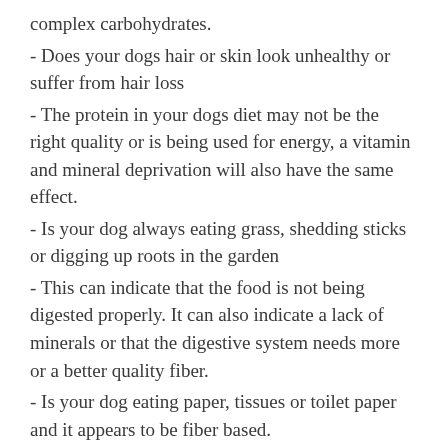complex carbohydrates.
- Does your dogs hair or skin look unhealthy or suffer from hair loss
- The protein in your dogs diet may not be the right quality or is being used for energy, a vitamin and mineral deprivation will also have the same effect.
- Is your dog always eating grass, shedding sticks or digging up roots in the garden
- This can indicate that the food is not being digested properly. It can also indicate a lack of minerals or that the digestive system needs more or a better quality fiber.
- Is your dog eating paper, tissues or toilet paper and it appears to be fiber based.
-Also can indicate a need for fiber to assist in the digestive process.
How to Choose a Quality Premium, Holistic Dog